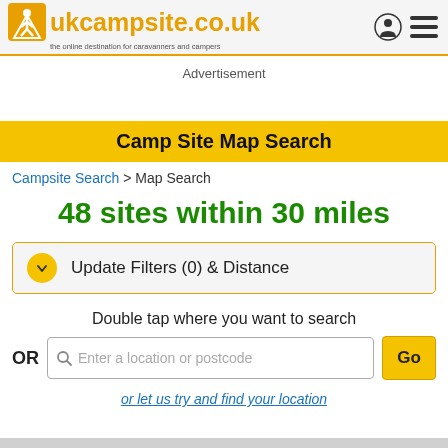ukcampsite.co.uk - the online destination for caravanners and campers
Advertisement
Camp Site Map Search
Campsite Search > Map Search
48 sites within 30 miles
Update Filters (0) & Distance
Double tap where you want to search
OR  Enter a location or postcode  Go
or let us try and find your location